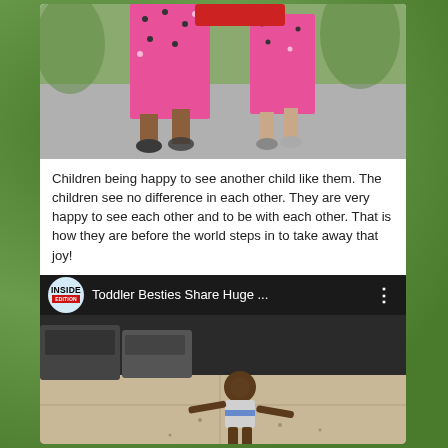[Figure (photo): Two children walking on a pavement, both wearing pink polka-dot dresses. One child is taller, wearing dark shoes. A red redacted rectangle is partially visible at the top. The bottom portion of the image is a solid black bar.]
Children being happy to see another child like them. The children see no difference in each other. They are very happy to see each other and to be with each other. That is how they are before the world steps in to take away that joy!
[Figure (screenshot): YouTube video thumbnail from Inside Edition channel. Title reads 'Toddler Besties Share Huge ...' with a three-dot menu icon. The video thumbnail shows a toddler on a sidewalk with arms outstretched, cars parked in background.]